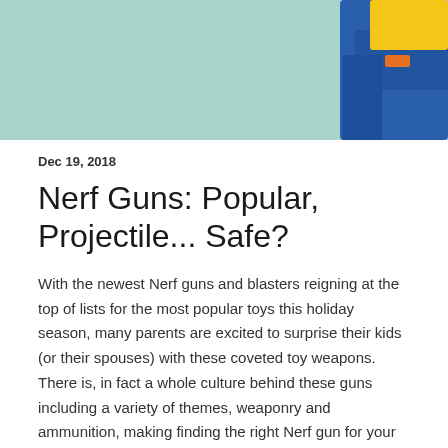[Figure (photo): Banner image with mint/teal background and partial view of a blue and yellow Nerf gun in upper right corner]
Dec 19, 2018
Nerf Guns: Popular, Projectile... Safe?
With the newest Nerf guns and blasters reigning at the top of lists for the most popular toys this holiday season, many parents are excited to surprise their kids (or their spouses) with these coveted toy weapons. There is, in fact a whole culture behind these guns including a variety of themes, weaponry and ammunition, making finding the right Nerf gun for your loved one an additional part of the fun. Most don't even bat an eye…(pun intended) about the possible dangers of these guns, specifically to the eyes and vision.
The truth is, Nerf guns have been reported to cause eye injuries including corneal abrasion (or scratch on the eye), internal